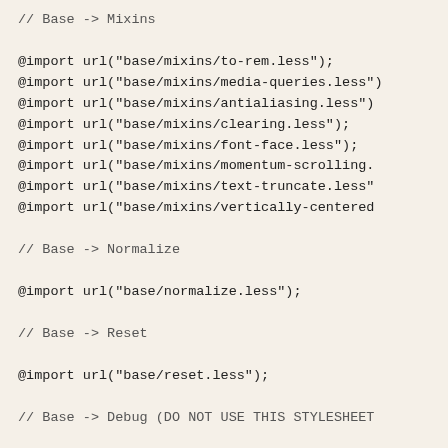// Base -> Mixins

@import url("base/mixins/to-rem.less");
@import url("base/mixins/media-queries.less");
@import url("base/mixins/antialiasing.less");
@import url("base/mixins/clearing.less");
@import url("base/mixins/font-face.less");
@import url("base/mixins/momentum-scrolling.l");
@import url("base/mixins/text-truncate.less");
@import url("base/mixins/vertically-centered.");

// Base -> Normalize

@import url("base/normalize.less");

// Base -> Reset

@import url("base/reset.less");

// Base -> Debug (DO NOT USE THIS STYLESHEET

//@import url("base/debug.less");